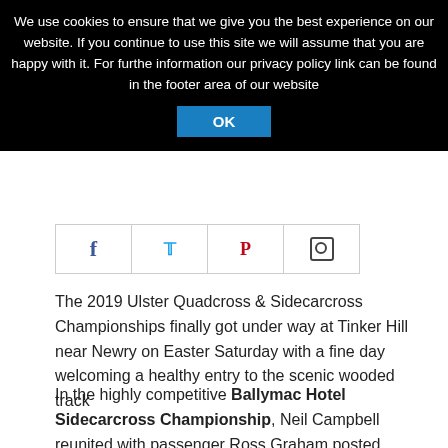We use cookies to ensure that we give you the best experience on our website. If you continue to use this site we will assume that you are happy with it. For further information our privacy policy link can be found in the footer area of our website.
[Figure (other): Social media sharing icons bar: Facebook, Twitter, Pinterest, Instagram/camera icons in a row of bordered cells]
The 2019 Ulster Quadcross & Sidecarcross Championships finally got under way at Tinker Hill near Newry on Easter Saturday with a fine day welcoming a healthy entry to the scenic wooded track
In the highly competitive Ballymac Hotel Sidecarcross Championship, Neil Campbell reunited with passenger Ross Graham posted three wins from three starts, but Emma Moulds and Niki Adair chased them all the way with three fine second places, third was Geoff Ingram with new